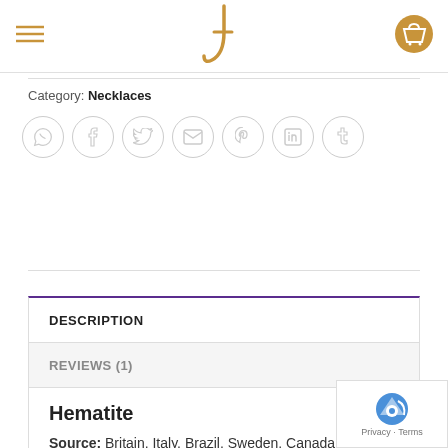J [logo]
Category: Necklaces
[Figure (other): Row of 7 social sharing icons in circles: WhatsApp, Facebook, Twitter, Email, Pinterest, LinkedIn, Tumblr]
DESCRIPTION
REVIEWS (1)
Hematite
Source: Britain, Italy, Brazil, Sweden, Canada,